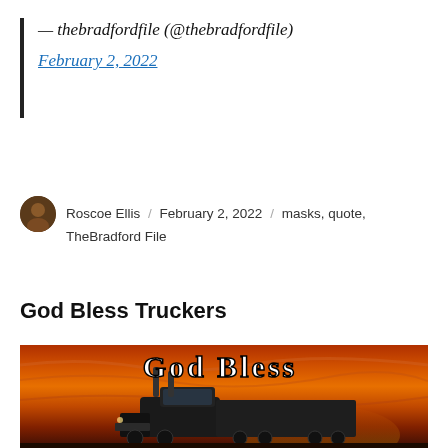— thebradfordfile (@thebradfordfile) February 2, 2022
Roscoe Ellis / February 2, 2022 / masks, quote, TheBradford File
God Bless Truckers
[Figure (photo): A semi truck (18-wheeler) photographed against a dramatic orange and red sunset sky, with the text 'God Bless' in gothic/old English white lettering overlaid at the top of the image.]